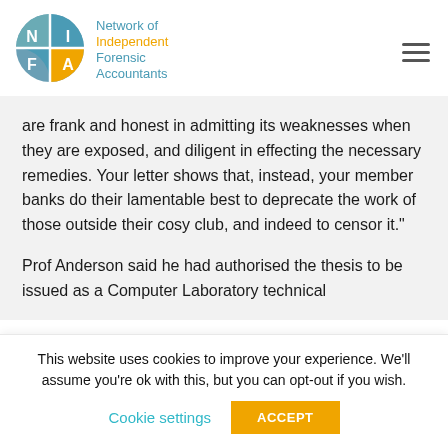[Figure (logo): NIFA logo - circle divided into four quadrants with N, I, F, A letters in white on blue/grey background, with 'Network of Independent Forensic Accountants' text in teal and orange]
are frank and honest in admitting its weaknesses when they are exposed, and diligent in effecting the necessary remedies. Your letter shows that, instead, your member banks do their lamentable best to deprecate the work of those outside their cosy club, and indeed to censor it."
Prof Anderson said he had authorised the thesis to be issued as a Computer Laboratory technical
This website uses cookies to improve your experience. We'll assume you're ok with this, but you can opt-out if you wish.
Cookie settings   ACCEPT